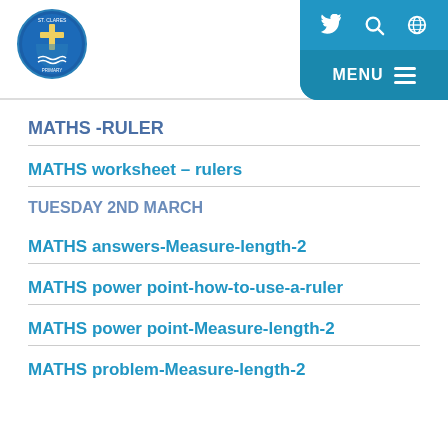[Figure (logo): School crest/shield logo with cross and nautical design, circular badge]
Twitter | Search | Globe | MENU
MATHS -RULER
MATHS worksheet – rulers
TUESDAY 2ND MARCH
MATHS answers-Measure-length-2
MATHS power point-how-to-use-a-ruler
MATHS power point-Measure-length-2
MATHS problem-Measure-length-2